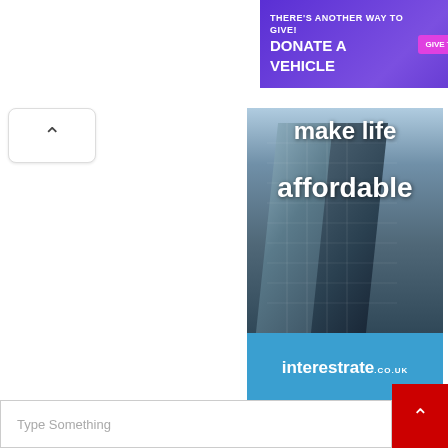[Figure (screenshot): Banner advertisement: purple background with car image. Text: 'THERE'S ANOTHER WAY TO GIVE! DONATE A VEHICLE' with a 'GIVE TODAY' button and a white car illustration.]
[Figure (infographic): Tall vertical advertisement for interestrate.co.uk showing a glass skyscraper with text 'make life affordable' overlaid, and a blue footer with the interestrate.co.uk logo.]
Powered by Hooligan Media
Type Something
Search